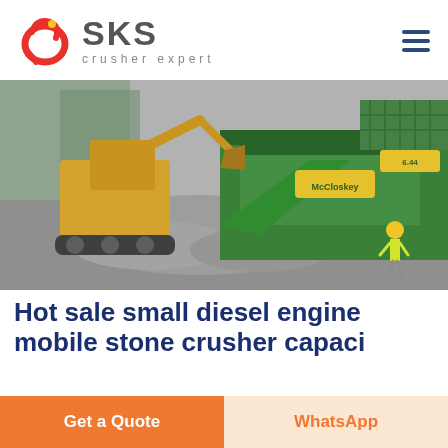[Figure (logo): SKS Crusher Expert logo with stylized red circular icon and SKS text in gray, subtitle 'crusher expert']
[Figure (photo): Industrial construction site with green and yellow heavy machinery (excavator and crusher/screener equipment, McCloskey brand visible), gravel/crushed stone on ground, worker in yellow vest visible on right side]
Hot sale small diesel engine mobile stone crusher capaci
Get a Quote
WhatsApp